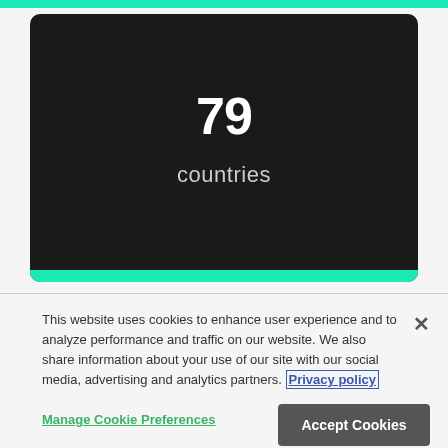[Figure (infographic): Dark card with teal accent bars showing the number 79 and the label 'countries']
This website uses cookies to enhance user experience and to analyze performance and traffic on our website. We also share information about your use of our site with our social media, advertising and analytics partners. Privacy policy
Manage Cookie Preferences
Accept Cookies